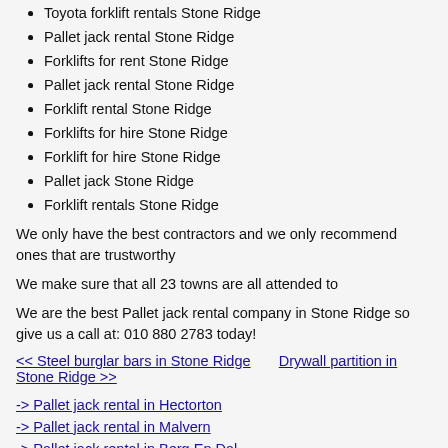Toyota forklift rentals Stone Ridge
Pallet jack rental Stone Ridge
Forklifts for rent Stone Ridge
Pallet jack rental Stone Ridge
Forklift rental Stone Ridge
Forklifts for hire Stone Ridge
Forklift for hire Stone Ridge
Pallet jack Stone Ridge
Forklift rentals Stone Ridge
We only have the best contractors and we only recommend ones that are trustworthy
We make sure that all 23 towns are all attended to
We are the best Pallet jack rental company in Stone Ridge so give us a call at: 010 880 2783 today!
<< Steel burglar bars in Stone Ridge   Drywall partition in Stone Ridge >>
-> Pallet jack rental in Hectorton
-> Pallet jack rental in Malvern
-> Pallet jack rental in Berg En Dal
-> Pallet jack rental in Sunrella
-> Pallet jack rental in Glenanda
-> Pallet jack rental in Anderbolt
-> Pallet jack rental in Witkoppies